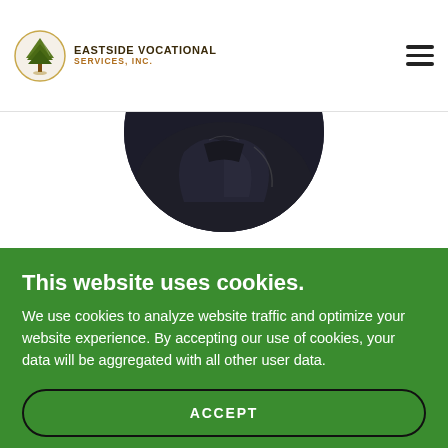Eastside Vocational Services, Inc.
[Figure (photo): Circular cropped profile photo showing person in dark clothing, partially visible from bottom of circle]
Adriane Bendzak
This website uses cookies.
We use cookies to analyze website traffic and optimize your website experience. By accepting our use of cookies, your data will be aggregated with all other user data.
ACCEPT